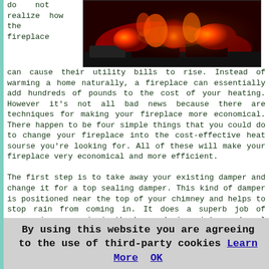do not realize how the fireplace
[Figure (photo): Close-up photo of glowing red and orange fire/embers in a fireplace]
can cause their utility bills to rise. Instead of warming a home naturally, a fireplace can essentially add hundreds of pounds to the cost of your heating. However it's not all bad news because there are techniques for making your fireplace more economical. There happen to be four simple things that you could do to change your fireplace into the cost-effective heat sourse you're looking for. All of these will make your fireplace very economical and more efficient.

The first step is to take away your existing damper and change it for a top sealing damper. This kind of damper is positioned near the top of your chimney and helps to stop rain from coming in. It does a superb job of preserving warm air in the house during winter and cool air from escaping in the summer months. The seal is straightforward to set up, and can be purchased on the web. Next, you should fit a fire-back in the rear section of your fireplace. A fire-back consists of cast iron and it is actually meant to shield the wall behind from fire damage,
By using this website you are agreeing to the use of third-party cookies Learn More  OK